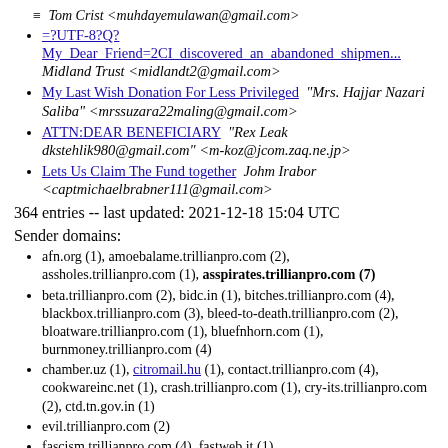≡  Tom Crist <muhdayemulawan@gmail.com>
=?UTF-8?Q? My Dear Friend=2CI discovered an abandoned shipmen... Midland Trust <midlandt2@gmail.com>
My Last Wish Donation For Less Privileged "Mrs. Hajjar Nazari Saliba" <mrssuzara22maling@gmail.com>
ATTN:DEAR BENEFICIARY "Rex Leak dkstehlik980@gmail.com" <m-koz@jcom.zaq.ne.jp>
Lets Us Claim The Fund together Johm Irabor <captmichaelbrabner111@gmail.com>
364 entries -- last updated: 2021-12-18 15:04 UTC
Sender domains:
afn.org (1), amoebalame.trillianpro.com (2), assholes.trillianpro.com (1), asspirates.trillianpro.com (7)
beta.trillianpro.com (2), bidc.in (1), bitches.trillianpro.com (4), blackbox.trillianpro.com (3), bleed-to-death.trillianpro.com (2), bloatware.trillianpro.com (1), bluefnhorn.com (1), burnmoney.trillianpro.com (4)
chamber.uz (1), citromail.hu (1), contact.trillianpro.com (4), cookwareinc.net (1), crash.trillianpro.com (1), cry-its.trillianpro.com (2), ctd.tn.gov.in (1)
evil.trillianpro.com (2)
fascism.trillianpro.com (4), fastweb.it (1)